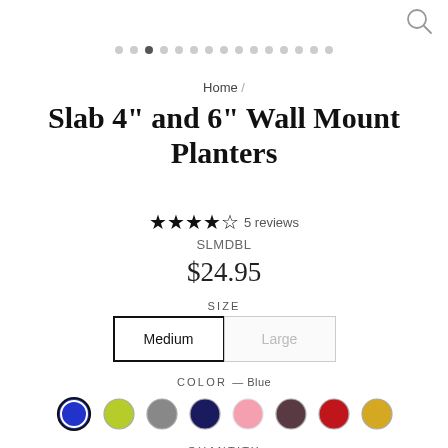[Figure (other): Search icon (magnifying glass) in top right corner]
[Figure (other): Carousel navigation dots, 15 total with third dot active]
Home /
Slab 4" and 6" Wall Mount Planters
★★★★★ 5 reviews
SLMDBL
$24.95
SIZE
Medium  Large
COLOR — Blue
[Figure (other): Color swatches: blue (selected), green, gray, navy, pink, brown/mauve, red, yellow/gold]
QUANTITY
[Figure (other): Quantity input box showing 1]